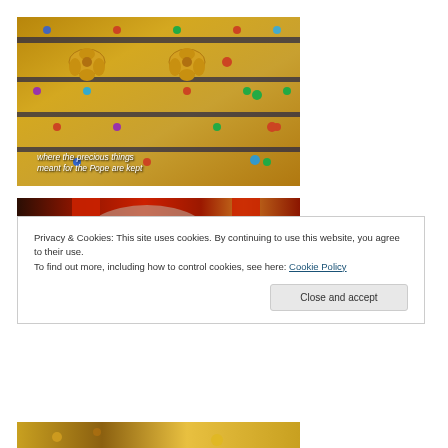[Figure (photo): Close-up of ornate golden crown or religious artifact with colorful gemstones, decorated with floral motifs. Subtitle text reads: 'where the precious things meant for the Pope are kept']
[Figure (photo): Close-up of red fabric and jewelry/rings with gemstones, blurred background]
Privacy & Cookies: This site uses cookies. By continuing to use this website, you agree to their use.
To find out more, including how to control cookies, see here: Cookie Policy
Close and accept
[Figure (photo): Partial view of golden ornate artifact at the bottom of the page]